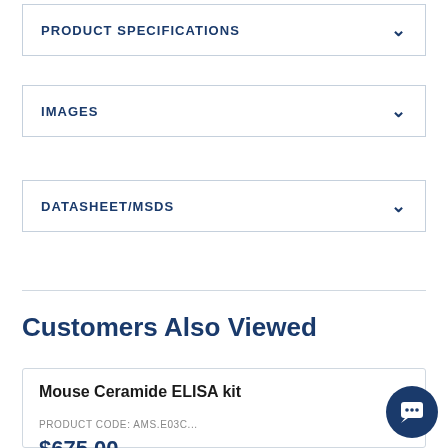PRODUCT SPECIFICATIONS
IMAGES
DATASHEET/MSDS
Customers Also Viewed
Mouse Ceramide ELISA kit
PRODUCT CODE: AMS.E03C...
$675.00